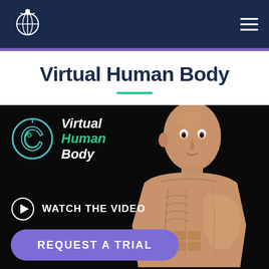[Figure (logo): Navigation bar with white logo (sextant/globe figure) on dark navy background, hamburger menu icon on right]
Virtual Human Body
[Figure (screenshot): Hero section with dark background showing 3D human body with visible anatomy layers (muscles, organs). Virtual Human Body logo (circle with head icon in teal/blue) overlaid top-left with italic text 'Virtual Human Body'. Watch the video link with play button circle. Request a Trial purple rounded button.]